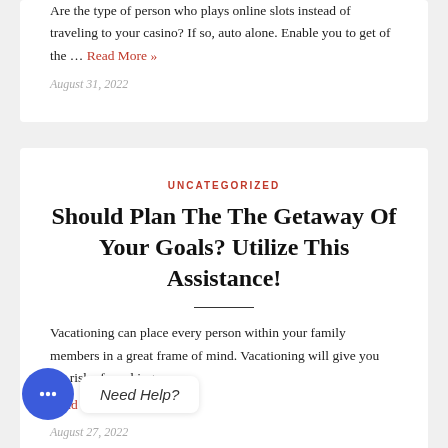Are the type of person who plays online slots instead of traveling to your casino? If so, auto alone. Enable you to get of the … Read More »
August 31, 2022
UNCATEGORIZED
Should Plan The The Getaway Of Your Goals? Utilize This Assistance!
Vacationing can place every person within your family members in a great frame of mind. Vacationing will give you the risk of reaching new
Read More »
August 27, 2022